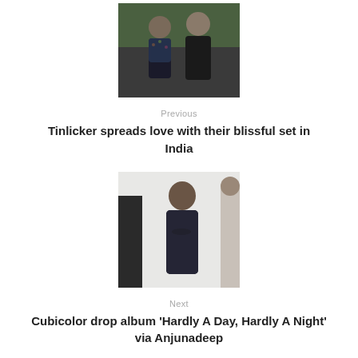[Figure (photo): Two bald men standing outdoors in front of trees, wearing dark clothing]
Previous
Tinlicker spreads love with their blissful set in India
[Figure (photo): Man in dark shirt standing in front of white wall, with partial view of others]
Next
Cubicolor drop album 'Hardly A Day, Hardly A Night' via Anjunadeep